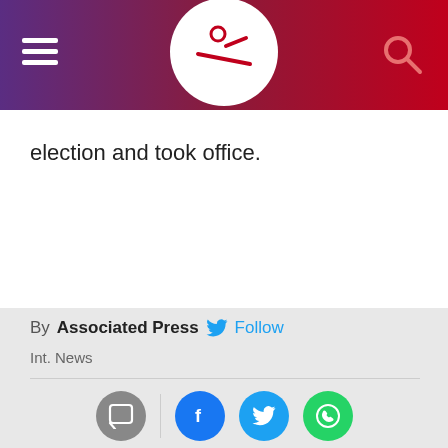Associated Press news website header with hamburger menu, logo, and search icon
election and took office.
By Associated Press Follow
Int. News
[Figure (infographic): Social share icons row: comment (gray), Facebook (blue), Twitter (light blue), WhatsApp (green)]
Advertisement
Comment
Write your comments ......